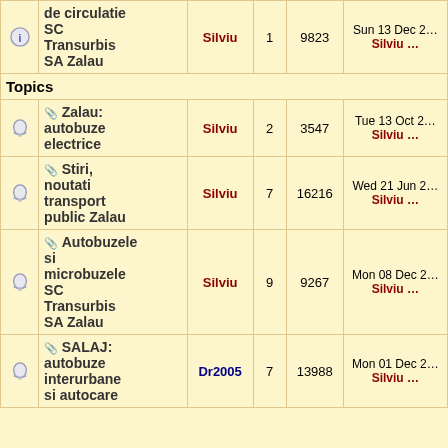|  | Topic | Author | Replies | Views | Last Post |
| --- | --- | --- | --- | --- | --- |
| 🔔 | de circulatie SC Transurbis SA Zalau | Silviu | 1 | 9823 | Sun 13 Dec … Silviu … |
| Topics |  |  |  |  |  |
| 🔔 | 📎 Zalau: autobuze electrice | Silviu | 2 | 3547 | Tue 13 Oct 2… Silviu … |
| 🔔 | 📎 Stiri, noutati transport public Zalau | Silviu | 7 | 16216 | Wed 21 Jun 2… Silviu … |
| 🔔 | 📎 Autobuzele si microbuzele SC Transurbis SA Zalau | Silviu | 9 | 9267 | Mon 08 Dec 2… Silviu … |
| 🔔 | 📎 SALAJ: autobuze interurbane si autocare | Dr2005 | 7 | 13988 | Mon 01 Dec 2… Silviu … |